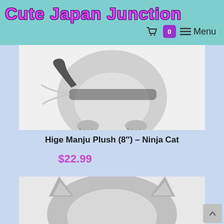Cute Japan Junction
[Figure (photo): Hige Manju Plush ninja cat plush toy, round gray cat shape viewed from behind, wearing a ninja mask/sash, with small legs and a dark tail]
Hige Manju Plush (8") – Ninja Cat
$22.99
[Figure (photo): Gray cat plush toy viewed from above/front, showing a round gray face and small ears]